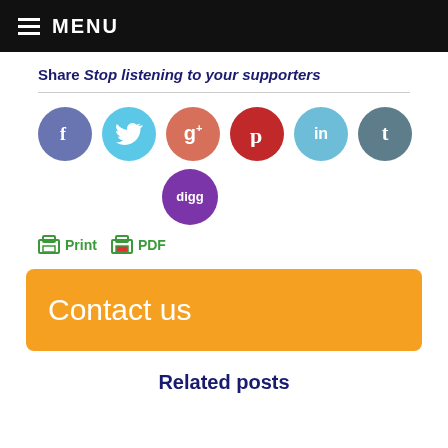MENU
Share Stop listening to your supporters
[Figure (infographic): Social media sharing icons: Facebook (blue-purple circle), Twitter (cyan circle), Google+ (salmon/red circle), Pinterest (red circle), LinkedIn (light blue circle), Tumblr (grey-blue circle), Digg (purple circle)]
Print PDF
Contact us
Related posts